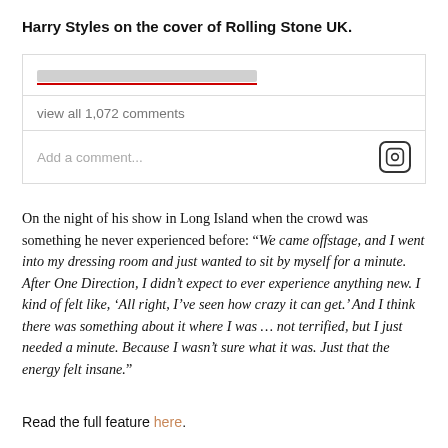Harry Styles on the cover of Rolling Stone UK.
[Figure (screenshot): Instagram comment section showing a partially visible username with red underline, 'view all 1,072 comments' link, and 'Add a comment...' input with Instagram camera icon]
On the night of his show in Long Island when the crowd was something he never experienced before: “We came offstage, and I went into my dressing room and just wanted to sit by myself for a minute. After One Direction, I didn’t expect to ever experience anything new. I kind of felt like, ‘All right, I’ve seen how crazy it can get.’ And I think there was something about it where I was … not terrified, but I just needed a minute. Because I wasn’t sure what it was. Just that the energy felt insane.”
Read the full feature here.